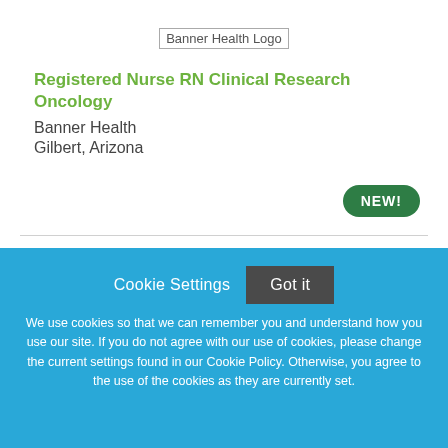[Figure (logo): Banner Health Logo placeholder image]
Registered Nurse RN Clinical Research Oncology
Banner Health
Gilbert, Arizona
NEW!
Cookie Settings
Got it
We use cookies so that we can remember you and understand how you use our site. If you do not agree with our use of cookies, please change the current settings found in our Cookie Policy. Otherwise, you agree to the use of the cookies as they are currently set.